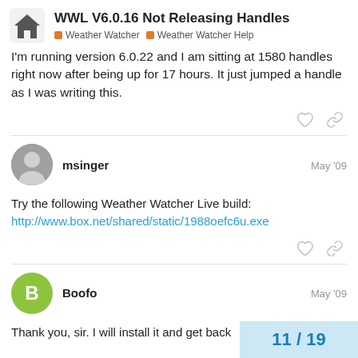WWL V6.0.16 Not Releasing Handles — Weather Watcher / Weather Watcher Help
I'm running version 6.0.22 and I am sitting at 1580 handles right now after being up for 17 hours. It just jumped a handle as I was writing this.
msinger — May '09
Try the following Weather Watcher Live build:
http://www.box.net/shared/static/1988oefc6u.exe
Boofo — May '09
Thank you, sir. I will install it and get back